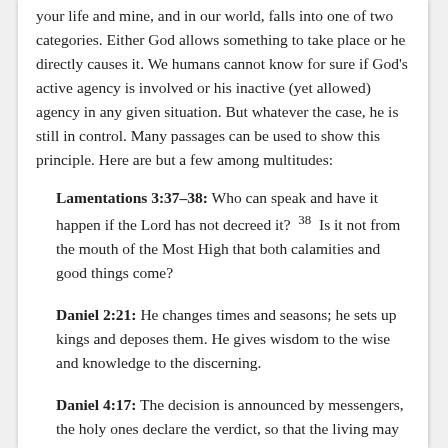your life and mine, and in our world, falls into one of two categories. Either God allows something to take place or he directly causes it. We humans cannot know for sure if God's active agency is involved or his inactive (yet allowed) agency in any given situation. But whatever the case, he is still in control. Many passages can be used to show this principle. Here are but a few among multitudes:
Lamentations 3:37–38: Who can speak and have it happen if the Lord has not decreed it? 38 Is it not from the mouth of the Most High that both calamities and good things come?
Daniel 2:21: He changes times and seasons; he sets up kings and deposes them. He gives wisdom to the wise and knowledge to the discerning.
Daniel 4:17: The decision is announced by messengers, the holy ones declare the verdict, so that the living may know that the Most High is...